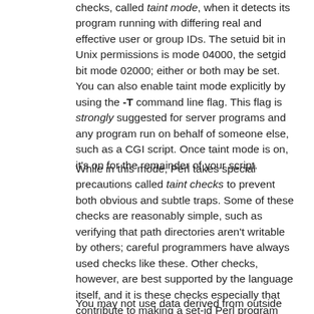checks, called taint mode, when it detects its program running with differing real and effective user or group IDs. The setuid bit in Unix permissions is mode 04000, the setgid bit mode 02000; either or both may be set. You can also enable taint mode explicitly by using the -T command line flag. This flag is strongly suggested for server programs and any program run on behalf of someone else, such as a CGI script. Once taint mode is on, it's on for the remainder of your script.
While in this mode, Perl takes special precautions called taint checks to prevent both obvious and subtle traps. Some of these checks are reasonably simple, such as verifying that path directories aren't writable by others; careful programmers have always used checks like these. Other checks, however, are best supported by the language itself, and it is these checks especially that contribute to making a set-id Perl program more secure than the corresponding C program.
You may not use data derived from outside your program to affect something else outside your program--